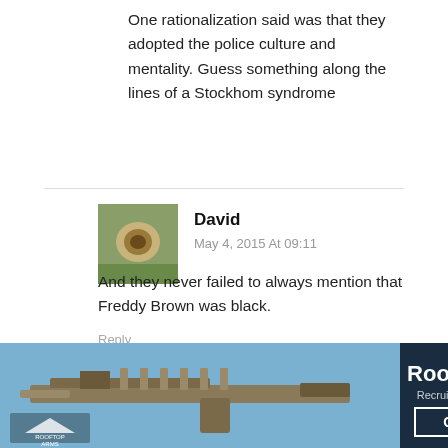One rationalization said was that they adopted the police culture and mentality. Guess something along the lines of a Stockhom syndrome
[Figure (photo): Avatar photo of user David - a round stone or acorn on a surface]
David
May 4, 2015 At 09:11
And they never failed to always mention that Freddy Brown was black.
Reply
[Figure (photo): Avatar image of user Rokurota - anime-style illustration of a person]
Rokurota
May 4, 2015 At 11:16
Brown was
[Figure (photo): Rooftop Arms advertisement banner showing an AR-15 rifle with text 'Rooftop Arms', 'Recruit Model AR-15 Rifle', and 'GIVEAWAY' button]